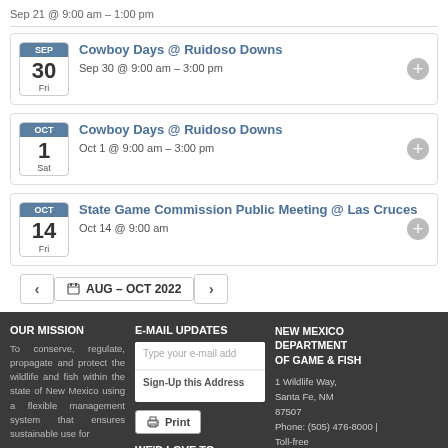Sep 21 @ 8:00 am – 1:00 pm
Cowboy Days @ Ruidoso Downs
Sep 30 @ 9:00 am – 3:00 pm
Cowboy Days @ Ruidoso Downs
Oct 1 @ 9:00 am – 3:00 pm
State Game Commission Public Meeting @ Las Cruces
Oct 14 @ 9:00 am
AUG – OCT 2022
OUR MISSION
To conserve, regulate, propagate and protect the wildlife and fish within the state of New Mexico using a flexible management system that ensures sustainable use for
E-MAIL UPDATES
Type your e-mail add
Sign-Up this Address
Print
WE'D LOVE TO HEAR FROM
NEW MEXICO DEPARTMENT OF GAME & FISH
1 Wildlife Way, Santa Fe, NM 87507
Phone: (505) 476-8000 | Toll-free